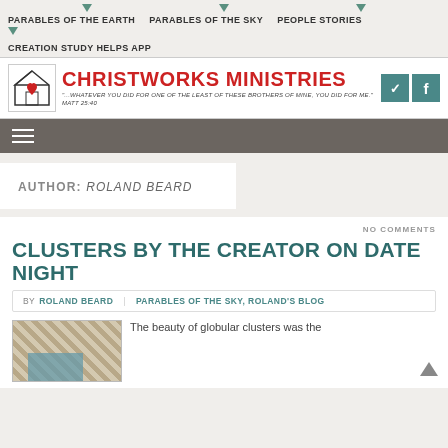PARABLES OF THE EARTH  PARABLES OF THE SKY  PEOPLE STORIES  CREATION STUDY HELPS APP
[Figure (logo): Christworks Ministries logo with house/heart icon, red bold title text, and social media icons for Twitter and Facebook]
Navigation menu bar with hamburger icon
AUTHOR: ROLAND BEARD
NO COMMENTS
CLUSTERS BY THE CREATOR ON DATE NIGHT
BY ROLAND BEARD  PARABLES OF THE SKY, ROLAND'S BLOG
The beauty of globular clusters was the